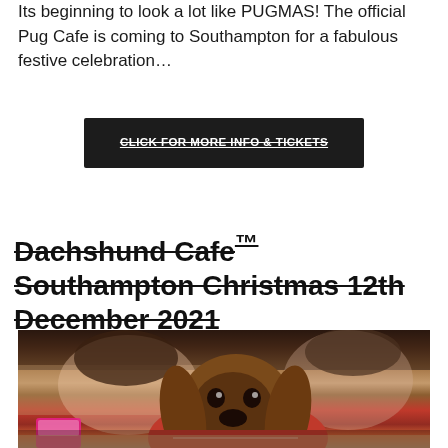Its beginning to look a lot like PUGMAS! The official Pug Cafe is coming to Southampton for a fabulous festive celebration…
CLICK FOR MORE INFO & TICKETS
Dachshund Cafe™ Southampton Christmas 12th December 2021
[Figure (photo): Photo of a dachshund dog wearing a red Christmas sweater in the foreground, with two smiling women blurred in the background at what appears to be a cafe setting.]